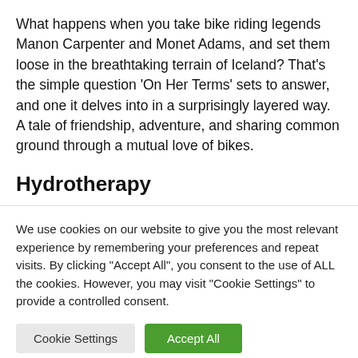What happens when you take bike riding legends Manon Carpenter and Monet Adams, and set them loose in the breathtaking terrain of Iceland? That's the simple question 'On Her Terms' sets to answer, and one it delves into in a surprisingly layered way. A tale of friendship, adventure, and sharing common ground through a mutual love of bikes.
Hydrotherapy
We use cookies on our website to give you the most relevant experience by remembering your preferences and repeat visits. By clicking "Accept All", you consent to the use of ALL the cookies. However, you may visit "Cookie Settings" to provide a controlled consent.